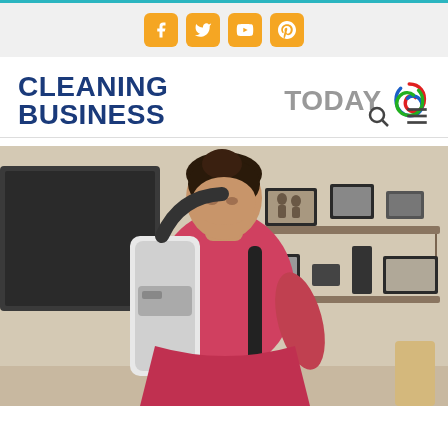Social media icons: Facebook, Twitter, YouTube, Pinterest
[Figure (logo): Cleaning Business Today logo with colorful swirl icon]
[Figure (photo): Woman wearing a red shirt and backpack vacuum cleaner, cleaning inside a home with picture frames on shelves in background]